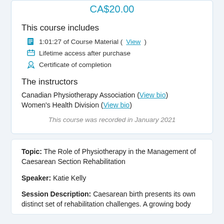CA$20.00
This course includes
1:01:27 of Course Material (View)
Lifetime access after purchase
Certificate of completion
The instructors
Canadian Physiotherapy Association (View bio)
Women's Health Division (View bio)
This course was recorded in January 2021
Topic: The Role of Physiotherapy in the Management of Caesarean Section Rehabilitation
Speaker: Katie Kelly
Session Description: Caesarean birth presents its own distinct set of rehabilitation challenges. A growing body